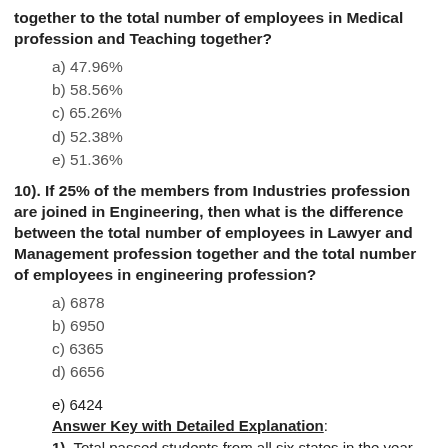together to the total number of employees in Medical profession and Teaching together?
a) 47.96%
b) 58.56%
c) 65.26%
d) 52.38%
e) 51.36%
10). If 25% of the members from Industries profession are joined in Engineering, then what is the difference between the total number of employees in Lawyer and Management profession together and the total number of employees in engineering profession?
a) 6878
b) 6950
c) 6365
d) 6656
e) 6424
Answer Key with Detailed Explanation:
1). Total passed students from all six states in the year 2015